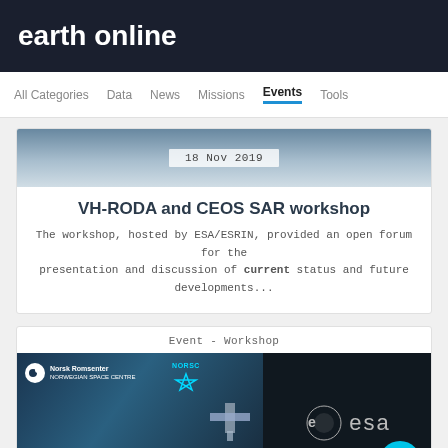earth online
All Categories  Data  News  Missions  Events  Tools
18 Nov 2019
VH-RODA and CEOS SAR workshop
The workshop, hosted by ESA/ESRIN, provided an open forum for the presentation and discussion of current status and future developments...
Event - Workshop
[Figure (photo): SEASAR 2012 workshop banner showing Norsk Romsenter and ESA logos with satellite imagery background]